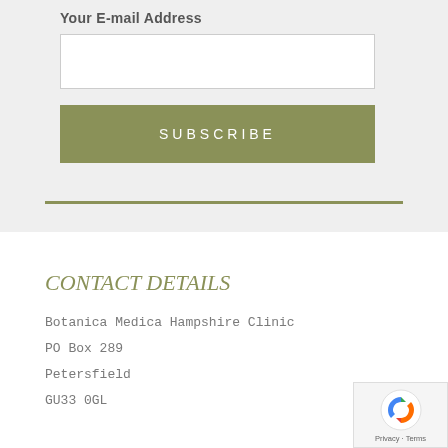Your E-mail Address
SUBSCRIBE
CONTACT DETAILS
Botanica Medica Hampshire Clinic
PO Box 289
Petersfield
GU33 0GL